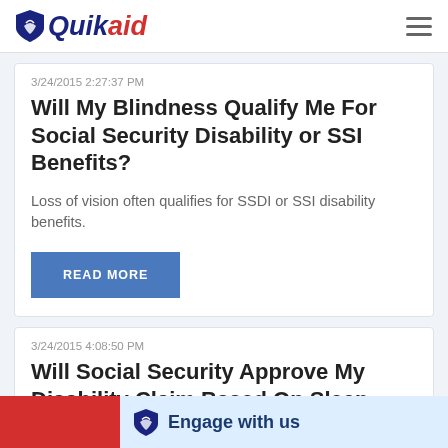Quikaid
3/24/2015 2:27:37 PM
Will My Blindness Qualify Me For Social Security Disability or SSI Benefits?
Loss of vision often qualifies for SSDI or SSI disability benefits.
READ MORE
3/24/2015 4:08:50 PM
Will Social Security Approve My Disability Claim Based On Sleep Apnea?
Engage with us